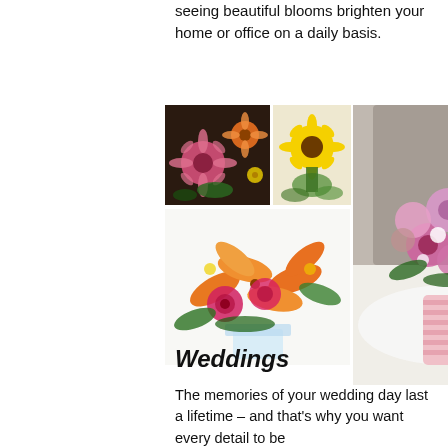seeing beautiful blooms brighten your home or office on a daily basis.
[Figure (photo): Grid of flower arrangement photos including gerbera daisies and roses, sunflower arrangement, orange lily and rose bouquet, and a large pink floral arrangement in a striped vase on a fur rug, with a partially visible photo on the right.]
Weddings
The memories of your wedding day last a lifetime – and that's why you want every detail to be